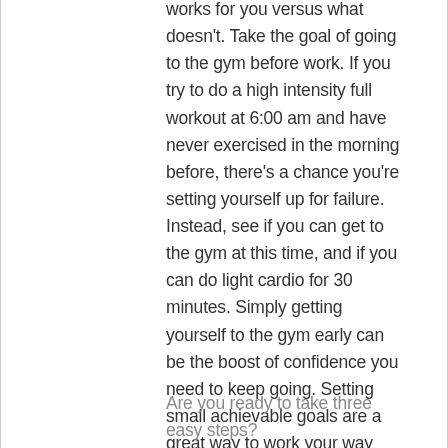works for you versus what doesn't. Take the goal of going to the gym before work. If you try to do a high intensity full workout at 6:00 am and have never exercised in the morning before, there's a chance you're setting yourself up for failure. Instead, see if you can get to the gym at this time, and if you can do light cardio for 30 minutes. Simply getting yourself to the gym early can be the boost of confidence you need to keep going. Setting small achievable goals are a great way to work your way towards long-term change that will last.
Are you ready to take three easy steps?